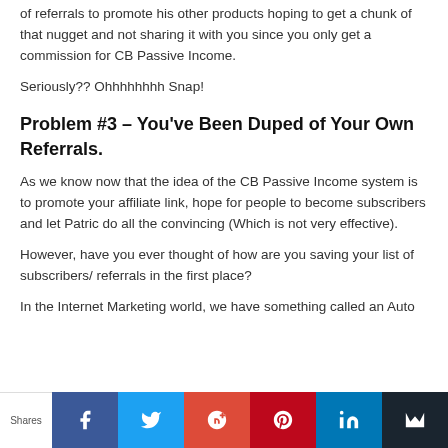of referrals to promote his other products hoping to get a chunk of that nugget and not sharing it with you since you only get a commission for CB Passive Income.
Seriously?? Ohhhhhhhh Snap!
Problem #3 – You've Been Duped of Your Own Referrals.
As we know now that the idea of the CB Passive Income system is to promote your affiliate link, hope for people to become subscribers and let Patric do all the convincing (Which is not very effective).
However, have you ever thought of how are you saving your list of subscribers/ referrals in the first place?
In the Internet Marketing world, we have something called an Auto
Shares | Facebook | Twitter | Google+ | Pinterest | LinkedIn | Email